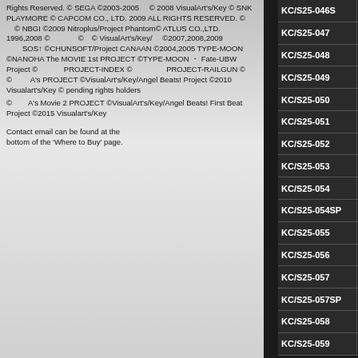Rights Reserved. © SEGA ©2003-2005 [text] © 2008 VisualArt's/Key © SNK PLAYMORE © CAPCOM CO., LTD. 2009 ALL RIGHTS RESERVED. © [text] © NBGI ©2009 Nitroplus/Project Phantom© ATLUS CO.,LTD. 1996,2008 © [text] [text] ©[text] © VisualArt's/Key/[text] ©2007,2008,2009 [text]SOS↑ ©CHUNSOFT/Project CANAAN ©2004,2005 TYPE-MOON ©NANOHA The MOVIE 1st PROJECT ©TYPE-MOON・Fate-UBW Project © [text]PROJECT-INDEX ©[text] [text]PROJECT-RAILGUN ©[text] ©[text]A's PROJECT ©VisualArt's/Key/Angel Beats! Project ©2010 Visualart's/Key © pending rights holders
©[text]A's Movie 2 PROJECT ©VisualArt's/Key/Angel Beats! First Beat Project ©2015 Visualart's/Key
Contact email can be found at the bottom of the 'Where to Buy' page.
| Card ID | Name/Details |
| --- | --- |
| KC/S25-046S | A... |
| KC/S25-047 | Fu... |
| KC/S25-048 | N... |
| KC/S25-049 | S... |
| KC/S25-050 | A... |
| KC/S25-051 | Is... |
| KC/S25-052 | H'... |
| KC/S25-053 | Ry... |
| KC/S25-054 | Al... |
| KC/S25-054SP | Al... |
| KC/S25-055 | Al... |
| KC/S25-056 | H... |
| KC/S25-057 | Ik... |
| KC/S25-057SP | Ik... |
| KC/S25-058 | N... |
| KC/S25-059 | S... |